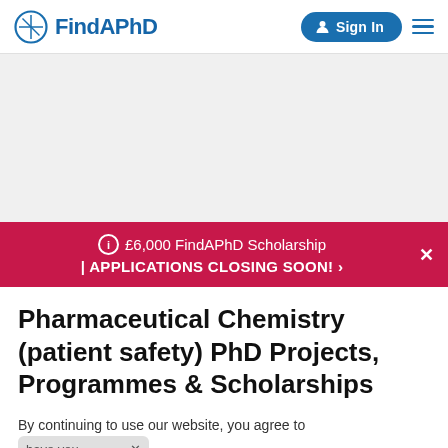FindAPhD — Sign In
[Figure (other): Advertisement banner area (gray placeholder)]
£6,000 FindAPhD Scholarship | APPLICATIONS CLOSING SOON! ›
Pharmaceutical Chemistry (patient safety) PhD Projects, Programmes & Scholarships
By continuing to use our website, you agree to our privacy policy